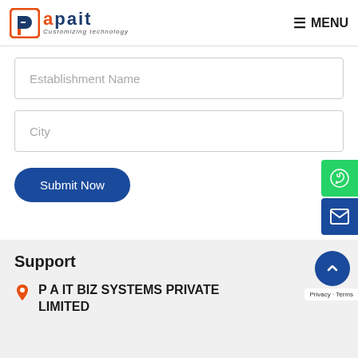PAIT – Customizing technology | MENU
Establishment Name
City
Submit Now
Support
P A IT BIZ SYSTEMS PRIVATE LIMITED